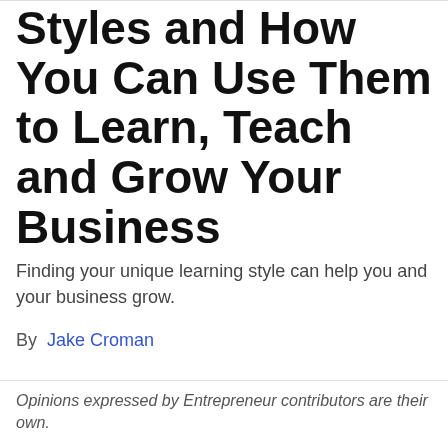Styles and How You Can Use Them to Learn, Teach and Grow Your Business
Finding your unique learning style can help you and your business grow.
By  Jake Croman
Opinions expressed by Entrepreneur contributors are their own.